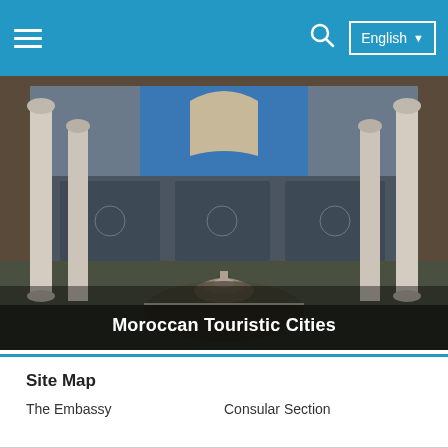English
[Figure (photo): Interior of a Moroccan palace or mosque courtyard featuring ornate zellige tilework walls, white marble columns with carved capitals, and a central decorative fountain on a star-patterned floor.]
Moroccan Touristic Cities
Site Map
The Embassy
Consular Section